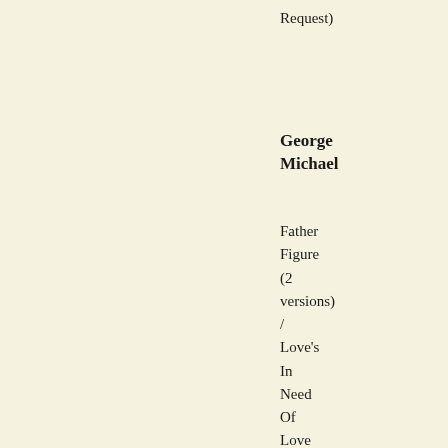Request)
George Michael
Father Figure (2 versions) / Love's In Need Of Love Today (live) (12 PS) / 1987 / Columbia